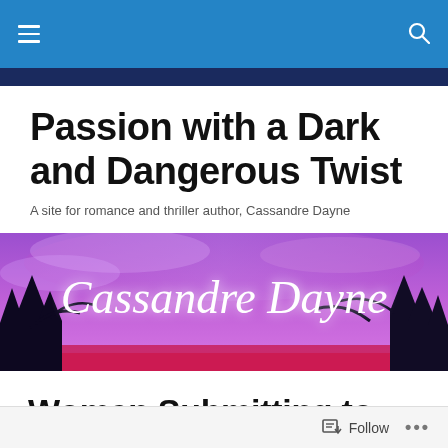Navigation bar with menu and search icons
Passion with a Dark and Dangerous Twist
A site for romance and thriller author, Cassandre Dayne
[Figure (illustration): Purple and pink banner image with silhouetted trees and the text 'Cassandre Dayne' in white cursive script]
Women Submitting to Men… Bullshit or Something Else?
Follow   •••